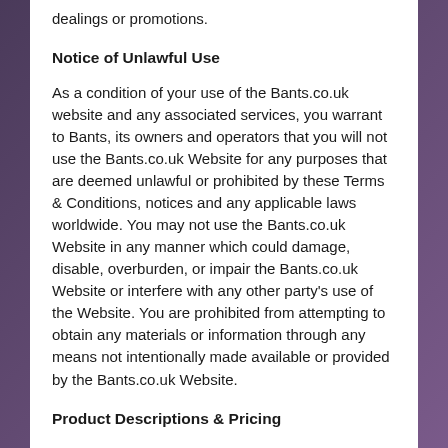dealings or promotions.
Notice of Unlawful Use
As a condition of your use of the Bants.co.uk website and any associated services, you warrant to Bants, its owners and operators that you will not use the Bants.co.uk Website for any purposes that are deemed unlawful or prohibited by these Terms & Conditions, notices and any applicable laws worldwide. You may not use the Bants.co.uk Website in any manner which could damage, disable, overburden, or impair the Bants.co.uk Website or interfere with any other party's use of the Website. You are prohibited from attempting to obtain any materials or information through any means not intentionally made available or provided by the Bants.co.uk Website.
Product Descriptions & Pricing